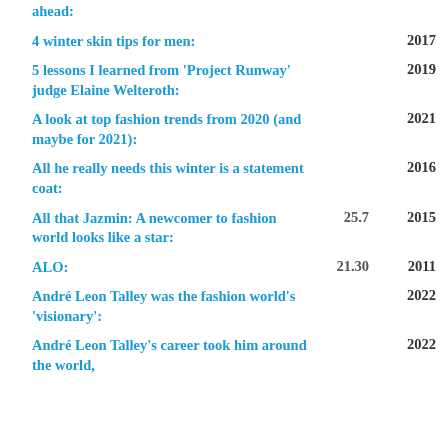| Title | Num | Year |
| --- | --- | --- |
| ahead: |  |  |
| 4 winter skin tips for men: |  | 2017 |
| 5 lessons I learned from 'Project Runway' judge Elaine Welteroth: |  | 2019 |
| A look at top fashion trends from 2020 (and maybe for 2021): |  | 2021 |
| All he really needs this winter is a statement coat: |  | 2016 |
| All that Jazmin: A newcomer to fashion world looks like a star: | 25.7 | 2015 |
| ALO: | 21.30 | 2011 |
| André Leon Talley was the fashion world's 'visionary': |  | 2022 |
| André Leon Talley's career took him around the world, |  | 2022 |